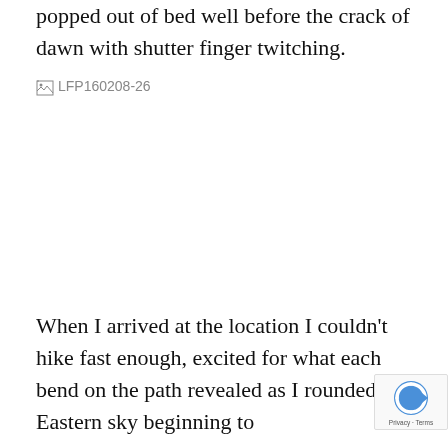popped out of bed well before the crack of dawn with shutter finger twitching.
[Figure (photo): Missing image placeholder labeled LFP160208-26]
When I arrived at the location I couldn't hike fast enough, excited for what each bend on the path revealed as I rounded it. Eastern sky beginning to